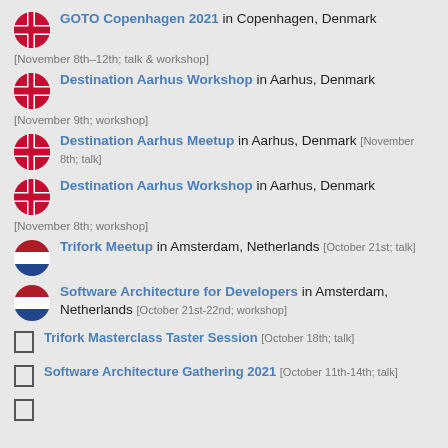GOTO Copenhagen 2021 in Copenhagen, Denmark [November 8th–12th; talk & workshop]
Destination Aarhus Workshop in Aarhus, Denmark [November 9th; workshop]
Destination Aarhus Meetup in Aarhus, Denmark [November 8th; talk]
Destination Aarhus Workshop in Aarhus, Denmark [November 8th; workshop]
Trifork Meetup in Amsterdam, Netherlands [October 21st; talk]
Software Architecture for Developers in Amsterdam, Netherlands [October 21st-22nd; workshop]
Trifork Masterclass Taster Session [October 18th; talk]
Software Architecture Gathering 2021 [October 11th-14th; talk]